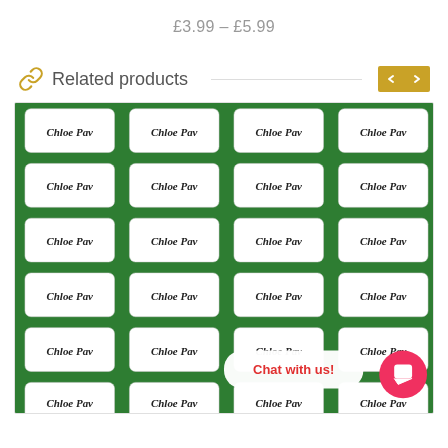£3.99 – £5.99
Related products
[Figure (photo): A sheet of personalised white sticky name labels each reading 'Chloe Pav' printed in dark italic font, arranged in a grid on a green background. A 'Chat with us!' bubble and red chat icon button are overlaid in the bottom right corner.]